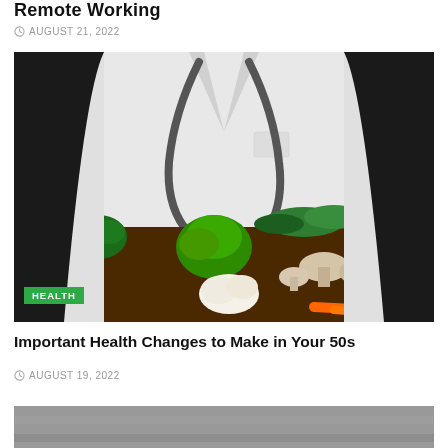Remote Working
AUGUST 21, 2022
[Figure (photo): A doctor in white coat with stethoscope holding a tray of assorted vegetables including green peppers, broccoli, tomatoes, mushrooms, cauliflower, and carrots against a dark background. A green HEALTH badge is overlaid at the bottom left.]
Important Health Changes to Make in Your 50s
AUGUST 19, 2022
[Figure (photo): Partial view of another article image at the bottom of the page.]